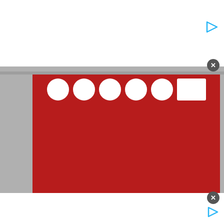[Figure (screenshot): Top white advertisement banner area with a play icon (cyan triangle) at top right and a gray close (X) button]
[Figure (screenshot): Large red advertisement block with white logo/circle shapes at top suggesting a Verizon or similar brand logo]
[Figure (screenshot): White card section showing MyMMANews branding with Follow Us text and social media icon circles (Facebook, Twitter, YouTube, etc.)]
[Figure (screenshot): Overlapping video player panel showing an MMA fighter (long-haired man flexing arms) at a weigh-in event with FIGHT PASS branding, a blue progress bar at top, three-dot menu, blue arrow button, and caption 'Philly heavyweight...' at bottom]
[Figure (screenshot): Bottom white advertisement strip with a gray close (X) button and a cyan play icon]
MyMMANe
Follow Us - All Th
FIGHT PASS
FIGHT PASS
Philly heavyweightlan